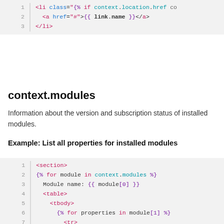[Figure (screenshot): Code block showing HTML template snippet with line numbers 1-3: li class with conditional, anchor tag with href and link.name, and closing li tag]
context.modules
Information about the version and subscription status of installed modules.
Example: List all properties for installed modules
[Figure (screenshot): Code block showing lines 1-9 of a template with section tag, for loop over context.modules, module name display, table and tbody tags, nested for loop over module[1], tr, th and td tags with properties[0] and properties[1]]